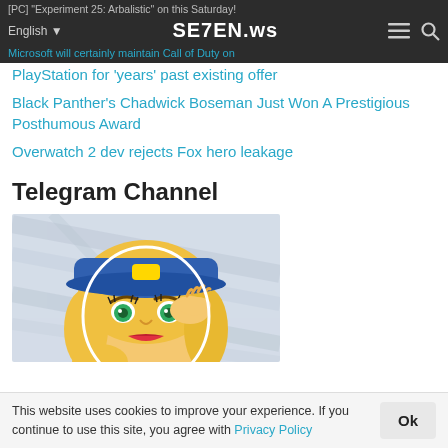[PC] "Experiment 25: Arbalistic" on this Saturday!
English  SE7EN.ws
Microsoft will certainly maintain Call of Duty on PlayStation for 'years' past existing offer
Black Panther's Chadwick Boseman Just Won A Prestigious Posthumous Award
Overwatch 2 dev rejects Fox hero leakage
Telegram Channel
[Figure (illustration): Pop-art style illustration of a blonde woman wearing a blue cap, with green eyes and red lips, hand raised to her face, against a grey background.]
This website uses cookies to improve your experience. If you continue to use this site, you agree with Privacy Policy
Ok